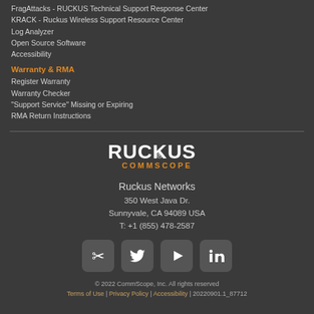FragAttacks - RUCKUS Technical Support Response Center
KRACK - Ruckus Wireless Support Resource Center
Log Analyzer
Open Source Software
Accessibility
Warranty & RMA
Register Warranty
Warranty Checker
"Support Service" Missing or Expiring
RMA Return Instructions
[Figure (logo): Ruckus by CommScope logo in white and orange]
Ruckus Networks
350 West Java Dr.
Sunnyvale, CA 94089 USA
T: +1 (855) 478-2587
[Figure (infographic): Social media icons: Ruckus community, Twitter, YouTube, LinkedIn]
© 2022 CommScope, Inc. All rights reserved
Terms of Use | Privacy Policy | Accessibility | 20220901.1_87712